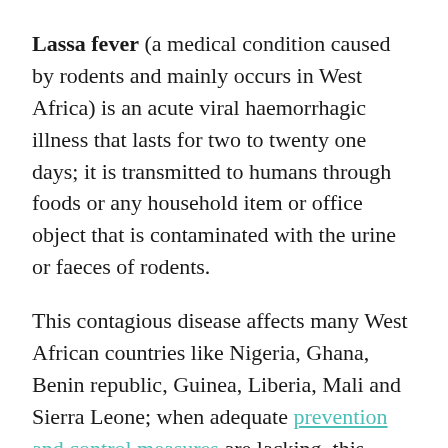Lassa fever (a medical condition caused by rodents and mainly occurs in West Africa) is an acute viral haemorrhagic illness that lasts for two to twenty one days; it is transmitted to humans through foods or any household item or office object that is contaminated with the urine or faeces of rodents.
This contagious disease affects many West African countries like Nigeria, Ghana, Benin republic, Guinea, Liberia, Mali and Sierra Leone; when adequate prevention and control measures are lacking, this disease can spread from person to person, even among hospital staffs and 15% of severe cases of Lassa fever are fatal.
Infected rodents are the reservoir or host of the